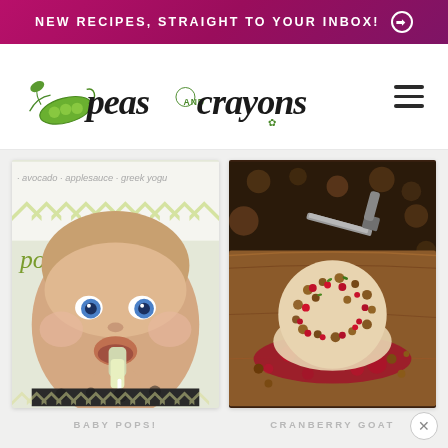NEW RECIPES, STRAIGHT TO YOUR INBOX! ➔
[Figure (logo): Peas and Crayons food blog logo with illustrated pea pod and decorative script typography]
[Figure (photo): Baby food pops — baby eating green avocado pop, with text overlay: avocado · applesauce · greek yogurt, pops!]
[Figure (photo): Cranberry goat cheese ball covered in nuts and dried cranberries on a wooden cutting board]
BABY POPS!
CRANBERRY GOAT